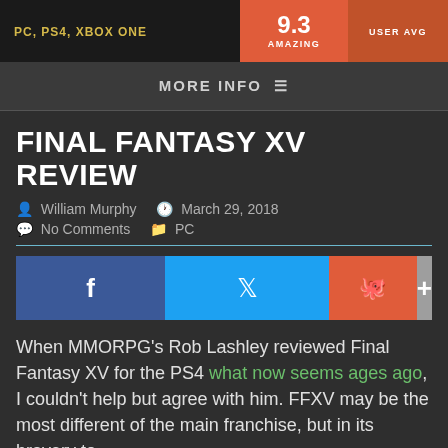PC, PS4, XBOX ONE | 9.3 AMAZING | USER AVG
MORE INFO
FINAL FANTASY XV REVIEW
William Murphy  March 29, 2018  No Comments  PC
[Figure (other): Social share buttons: Facebook, Twitter, Reddit, plus]
When MMORPG's Rob Lashley reviewed Final Fantasy XV for the PS4 what now seems ages ago, I couldn't help but agree with him. FFXV may be the most different of the main franchise, but in its bravery to